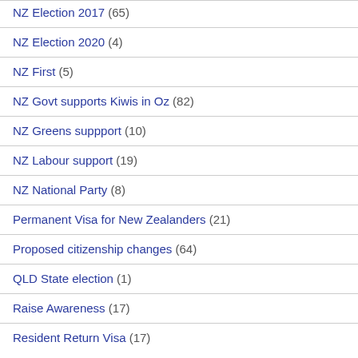NZ Election 2017 (65)
NZ Election 2020 (4)
NZ First (5)
NZ Govt supports Kiwis in Oz (82)
NZ Greens suppport (10)
NZ Labour support (19)
NZ National Party (8)
Permanent Visa for New Zealanders (21)
Proposed citizenship changes (64)
QLD State election (1)
Raise Awareness (17)
Resident Return Visa (17)